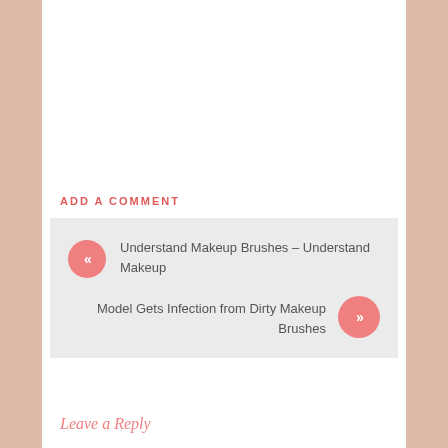ADD A COMMENT
Understand Makeup Brushes – Understand Makeup
Model Gets Infection from Dirty Makeup Brushes
Leave a Reply